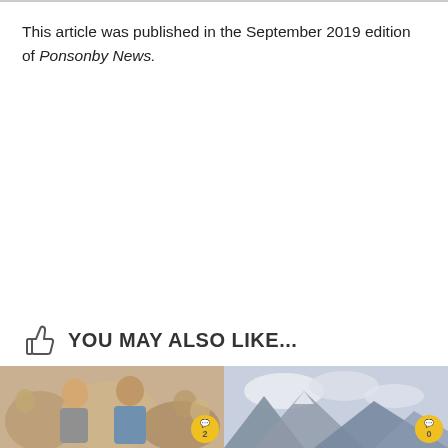This article was published in the September 2019 edition of Ponsonby News.
YOU MAY ALSO LIKE...
[Figure (photo): Two thumbnail images side by side at the bottom of the page. Left image shows two people (a man and a woman) at what appears to be a social event. Right image shows a landscape with mountains or hills. Both thumbnails have a yellow circular badge in the bottom right corner with a comment/chat count.]